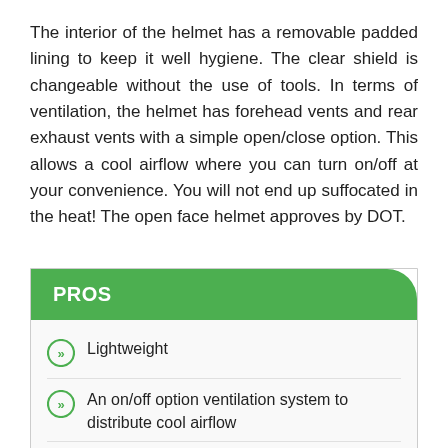The interior of the helmet has a removable padded lining to keep it well hygiene. The clear shield is changeable without the use of tools. In terms of ventilation, the helmet has forehead vents and rear exhaust vents with a simple open/close option. This allows a cool airflow where you can turn on/off at your convenience. You will not end up suffocated in the heat! The open face helmet approves by DOT.
PROS
Lightweight
An on/off option ventilation system to distribute cool airflow
A flat visor to change from clear to smoke